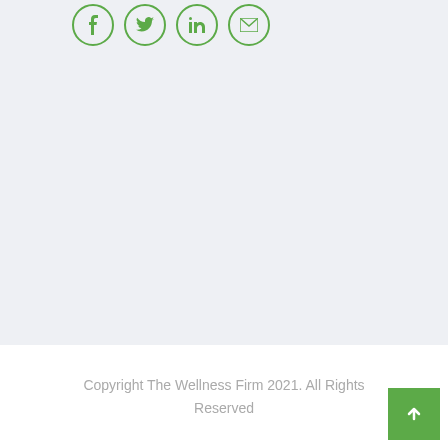[Figure (other): Four circular social media icon buttons with green borders on a light grey-blue background]
Copyright The Wellness Firm 2021. All Rights Reserved